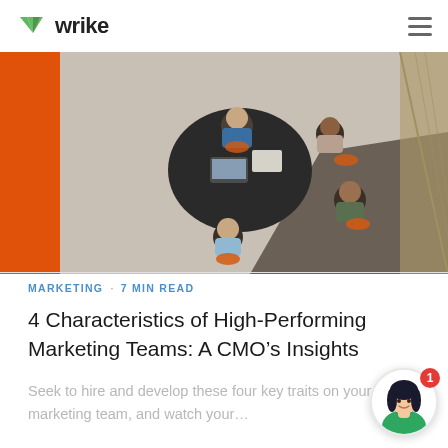wrike
[Figure (photo): Aerial/overhead view of a group of people sitting around a round dark table in an office with orange chairs, collaborating with a laptop and papers. Orange accent wall visible in upper left.]
MARKETING · 7 MIN READ
4 Characteristics of High-Performing Marketing Teams: A CMO's Insights
Seek to hire and develop these four key traits on your marketing team, and watch your...